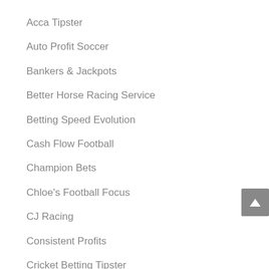Acca Tipster
Auto Profit Soccer
Bankers & Jackpots
Better Horse Racing Service
Betting Speed Evolution
Cash Flow Football
Champion Bets
Chloe's Football Focus
CJ Racing
Consistent Profits
Cricket Betting Tipster
Day B4
Diff Code Global
Diff Code Transatlantic